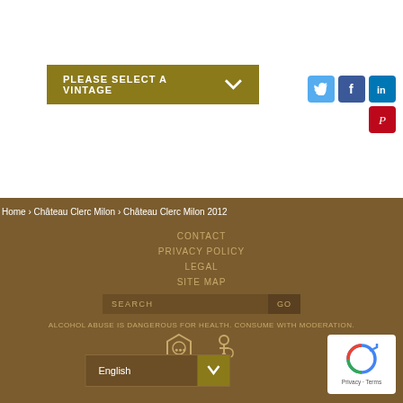[Figure (screenshot): Button: PLEASE SELECT A VINTAGE with dropdown arrow, olive/gold background]
[Figure (infographic): Social media icons: Twitter (blue bird), Facebook (f), LinkedIn (in), Pinterest (P)]
Home › Château Clerc Milon › Château Clerc Milon 2012
CONTACT
PRIVACY POLICY
LEGAL
SITE MAP
SEARCH GO
ALCOHOL ABUSE IS DANGEROUS FOR HEALTH. CONSUME WITH MODERATION.
[Figure (logo): Alcohol warning badge logos]
English
[Figure (logo): reCAPTCHA badge with Privacy and Terms links]